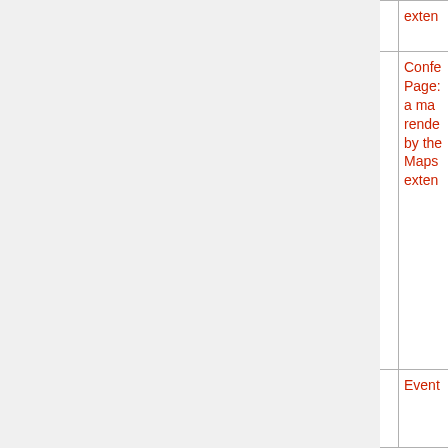| Event Name | Date | Location | Info |
| --- | --- | --- | --- |
|  |  |  | exten... |
| 1st European Summit on the Future Internet | 2 June 2010 09:30:00 | Chamber of Commerce, Luxembourg | Confe... Pages... a map... rende... by the... Maps... exten... |
| 1st anniversary |  |  | Event... |
| 24 h electro for kids 2 | 15 January 2012 11:00:00 | Rockhal, Belval, Luxembourg | U19 Event Pages... a map... rende... by the... Maps... exten... |
| 25ième Foire de l'Etudiant | 10 November 2011 | Luxexpo, Kirchberg, | Event Pages... a map... rende... |